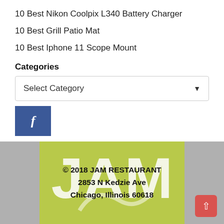10 Best Nikon Coolpix L340 Battery Charger
10 Best Grill Patio Mat
10 Best Iphone 11 Scope Mount
Categories
Select Category
[Figure (logo): Facebook 'f' logo button in blue]
© 2018 JAM RESTAURANT
2853 N Kedzie Ave
Chicago, Illinois 60618